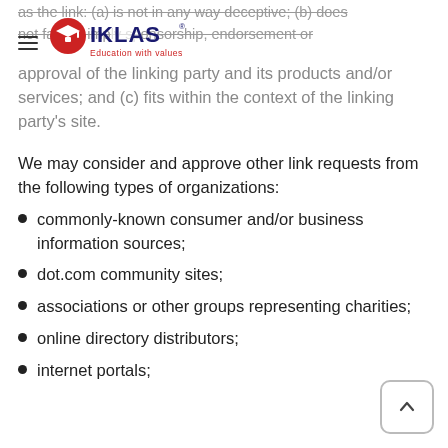as the link: (a) is not in any way deceptive; (b) does not falsely imply sponsorship, endorsement or
[Figure (logo): IKLAS logo with red and dark blue text and graduation cap icon, tagline 'Education with values']
approval of the linking party and its products and/or services; and (c) fits within the context of the linking party's site.
We may consider and approve other link requests from the following types of organizations:
commonly-known consumer and/or business information sources;
dot.com community sites;
associations or other groups representing charities;
online directory distributors;
internet portals;